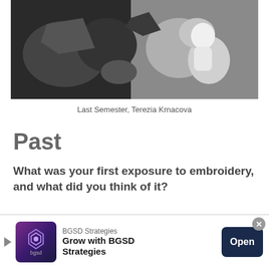[Figure (photo): Photograph showing paper cut-out art pieces arranged on a dark surface, viewed from above. Black and white paper cut-outs of figures and shapes are visible.]
Last Semester, Terezia Krnacova
Past
What was your first exposure to embroidery, and what did you think of it?
I am not sure, perhaps it was some clothes for my doll, when I was a small girl. I used to
[Figure (infographic): Advertisement banner for BGSD Strategies. Contains logo, company name 'BGSD Strategies', tagline 'Grow with BGSD Strategies', and an 'Open' button.]